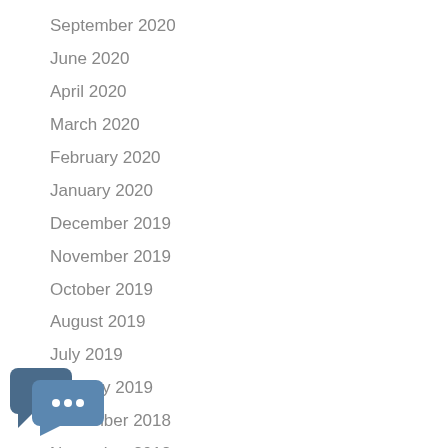September 2020
June 2020
April 2020
March 2020
February 2020
January 2020
December 2019
November 2019
October 2019
August 2019
July 2019
January 2019
December 2018
November 2018
[Figure (illustration): Chat bubble icon with two overlapping speech bubbles containing three dots, in slate blue color]